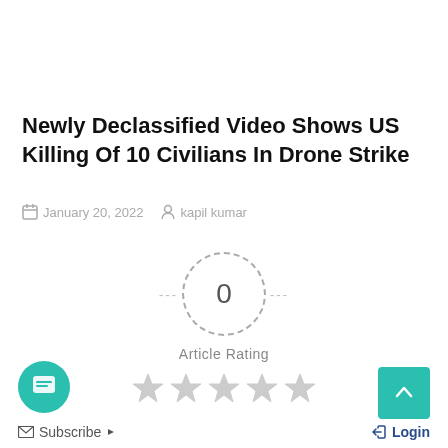Newly Declassified Video Shows US Killing Of 10 Civilians In Drone Strike
January 20, 2022  kapil kumar
[Figure (infographic): Article rating widget showing 0 rating in a dashed circle with dashes on each side, 'Article Rating' label, and 5 empty grey stars below]
Subscribe  Login